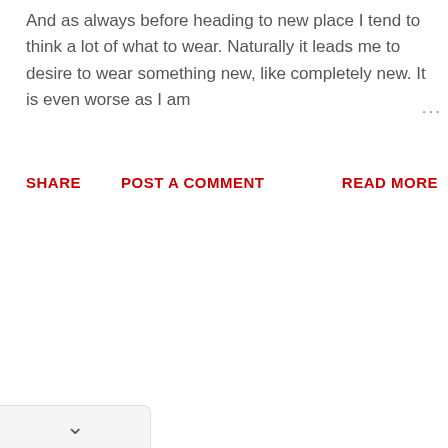And as always before heading to new place I tend to think a lot of what to wear. Naturally it leads me to desire to wear something new, like completely new. It is even worse as I am ...
SHARE   POST A COMMENT   READ MORE